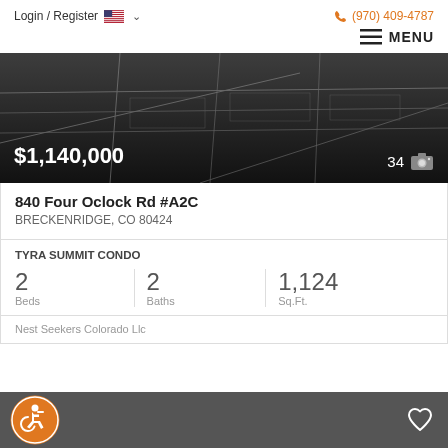Login / Register   (970) 409-4787
MENU
[Figure (screenshot): Dark map background showing street grid, with price $1,140,000 overlaid at bottom left and photo count 34 at bottom right with camera icon]
840 Four Oclock Rd #A2C
BRECKENRIDGE, CO 80424
TYRA SUMMIT CONDO
2 Beds  2 Baths  1,124 Sq.Ft.
Nest Seekers Colorado Llc
[Figure (illustration): Orange circle with wheelchair accessibility icon and heart/favorite icon on dark grey bottom bar]